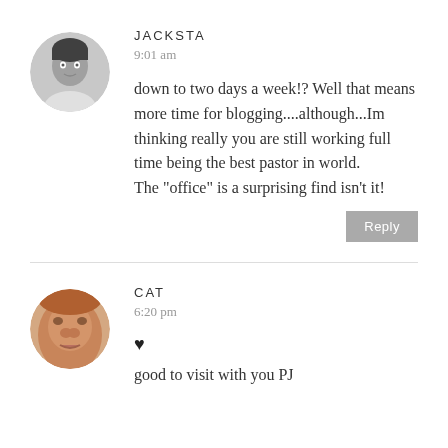[Figure (photo): Circular avatar photo of a woman in black and white]
JACKSTA
9:01 am
down to two days a week!? Well that means more time for blogging....although...Im thinking really you are still working full time being the best pastor in world.
The "office" is a surprising find isn't it!
Reply
[Figure (photo): Circular avatar photo of a person (close-up face, color)]
CAT
6:20 pm
♥
good to visit with you PJ